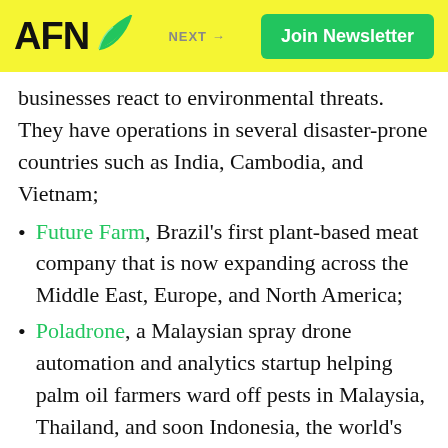AFN | Join Newsletter | NEXT →
businesses react to environmental threats. They have operations in several disaster-prone countries such as India, Cambodia, and Vietnam;
Future Farm, Brazil's first plant-based meat company that is now expanding across the Middle East, Europe, and North America;
Poladrone, a Malaysian spray drone automation and analytics startup helping palm oil farmers ward off pests in Malaysia, Thailand, and soon Indonesia, the world's largest palm oil producer;
mPharma, a Ghanian-based healthtech startup that manages prescription drug